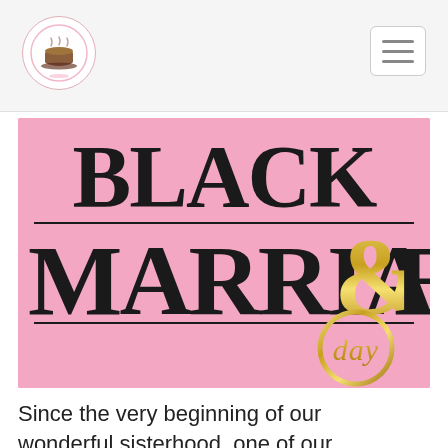Navigation bar with logo and hamburger menu
[Figure (logo): Black Marriage Day logo on pink background. Large bold black serif text reads 'BLACK MARRIAGE' with a stylized gold ampersand '&' and the word 'day' in cursive, all enclosed within a gold ring circle on the right side.]
Since the very beginning of our wonderful sisterhood, one of our